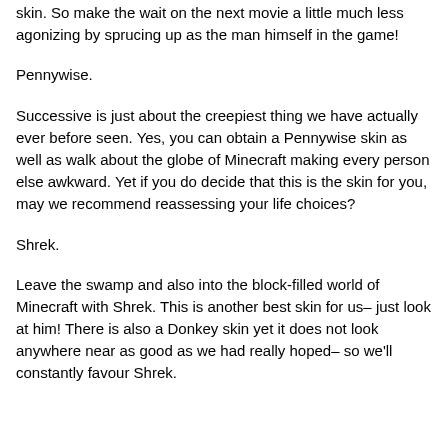skin. So make the wait on the next movie a little much less agonizing by sprucing up as the man himself in the game!
Pennywise.
Successive is just about the creepiest thing we have actually ever before seen. Yes, you can obtain a Pennywise skin as well as walk about the globe of Minecraft making every person else awkward. Yet if you do decide that this is the skin for you, may we recommend reassessing your life choices?
Shrek.
Leave the swamp and also into the block-filled world of Minecraft with Shrek. This is another best skin for us– just look at him! There is also a Donkey skin yet it does not look anywhere near as good as we had really hoped– so we'll constantly favour Shrek.